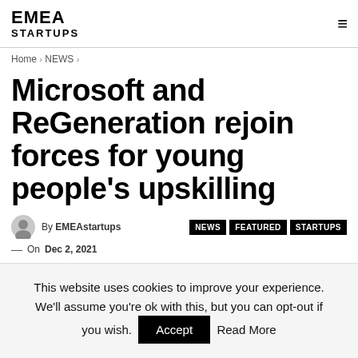EMEA STARTUPS
Home > NEWS >
Microsoft and ReGeneration rejoin forces for young people's upskilling
By EMEAstartups
NEWS  FEATURED  STARTUPS
On Dec 2, 2021
This website uses cookies to improve your experience. We'll assume you're ok with this, but you can opt-out if you wish.  Accept  Read More